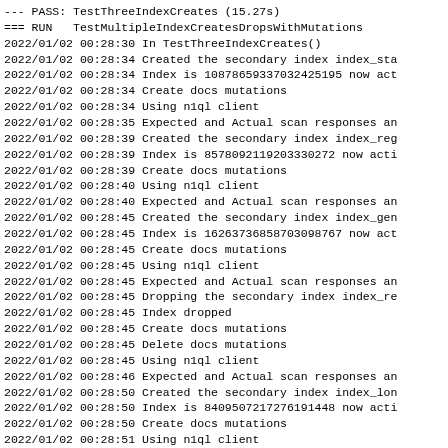--- PASS: TestThreeIndexCreates (15.27s)
=== RUN   TestMultipleIndexCreatesDropsWithMutations
2022/01/02 00:28:30 In TestThreeIndexCreates()
2022/01/02 00:28:34 Created the secondary index index_sta
2022/01/02 00:28:34 Index is 10878659337032425195 now act
2022/01/02 00:28:34 Create docs mutations
2022/01/02 00:28:34 Using n1ql client
2022/01/02 00:28:35 Expected and Actual scan responses an
2022/01/02 00:28:39 Created the secondary index index_reg
2022/01/02 00:28:39 Index is 8578092119203330272 now acti
2022/01/02 00:28:39 Create docs mutations
2022/01/02 00:28:40 Using n1ql client
2022/01/02 00:28:40 Expected and Actual scan responses an
2022/01/02 00:28:45 Created the secondary index index_gen
2022/01/02 00:28:45 Index is 16263736858703098767 now act
2022/01/02 00:28:45 Create docs mutations
2022/01/02 00:28:45 Using n1ql client
2022/01/02 00:28:45 Expected and Actual scan responses an
2022/01/02 00:28:45 Dropping the secondary index index_re
2022/01/02 00:28:45 Index dropped
2022/01/02 00:28:45 Create docs mutations
2022/01/02 00:28:45 Delete docs mutations
2022/01/02 00:28:45 Using n1ql client
2022/01/02 00:28:46 Expected and Actual scan responses an
2022/01/02 00:28:50 Created the secondary index index_lon
2022/01/02 00:28:50 Index is 8409507217276191448 now acti
2022/01/02 00:28:50 Create docs mutations
2022/01/02 00:28:51 Using n1ql client
2022/01/02 00:28:51 Expected and Actual scan responses an
--- PASS: TestMultipleIndexCreatesDropsWithMutations (21